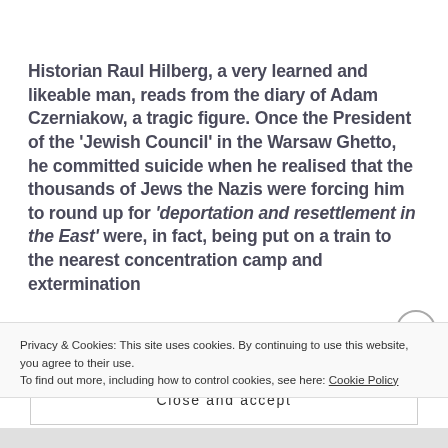Historian Raul Hilberg, a very learned and likeable man, reads from the diary of Adam Czerniakow, a tragic figure. Once the President of the 'Jewish Council' in the Warsaw Ghetto, he committed suicide when he realised that the thousands of Jews the Nazis were forcing him to round up for 'deportation and resettlement in the East' were, in fact, being put on a train to the nearest concentration camp and extermination
Privacy & Cookies: This site uses cookies. By continuing to use this website, you agree to their use.
To find out more, including how to control cookies, see here: Cookie Policy
Close and accept